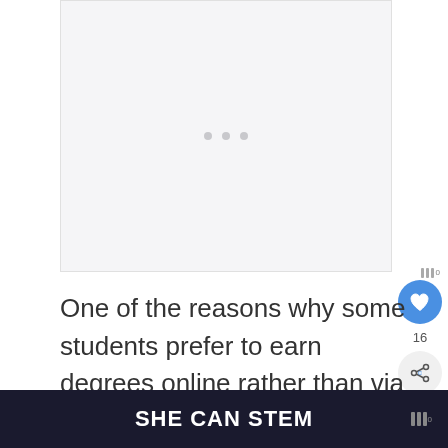[Figure (other): Blank advertisement placeholder area with three small grey dots in the center]
One of the reasons why some students prefer to earn degrees online rather than via the traditional means is that it makes it possible for them to go to school despite their hectic everyday schedules.
SHE CAN STEM